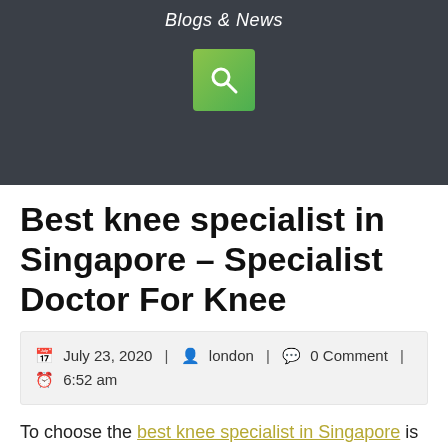Blogs & News
Best knee specialist in Singapore – Specialist Doctor For Knee
July 23, 2020 | london | 0 Comment | 6:52 am
To choose the best knee specialist in Singapore is not that difficult, but it does require you to know where to look. When you are searching for the best orthopaedic specialist in Singapore, it is important that you are able to understand a little